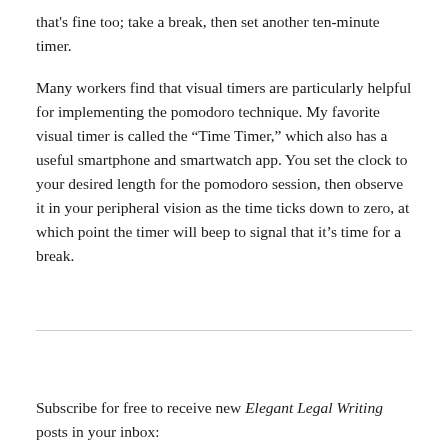that's fine too; take a break, then set another ten-minute timer.
Many workers find that visual timers are particularly helpful for implementing the pomodoro technique. My favorite visual timer is called the “Time Timer,” which also has a useful smartphone and smartwatch app. You set the clock to your desired length for the pomodoro session, then observe it in your peripheral vision as the time ticks down to zero, at which point the timer will beep to signal that it’s time for a break.
Subscribe for free to receive new Elegant Legal Writing posts in your inbox: